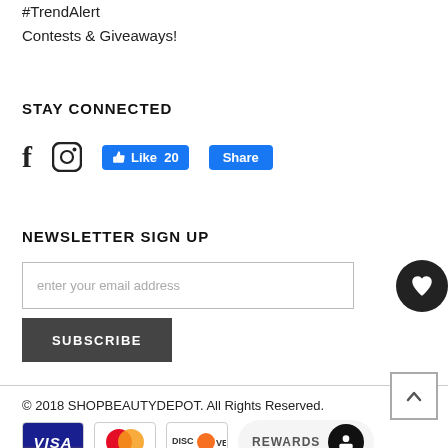#TrendAlert
Contests & Giveaways!
STAY CONNECTED
[Figure (other): Social media icons: Facebook 'f', Instagram camera icon, Facebook Like (20) and Share buttons]
NEWSLETTER SIGN UP
enter your email address
SUBSCRIBE
[Figure (other): Heart icon in black circle (favorites/wishlist button)]
© 2018 SHOPBEAUTYDEPOT. All Rights Reserved.
[Figure (other): Payment icons: Visa, MasterCard, Discover cards; Rewards button; back-to-top arrow box]